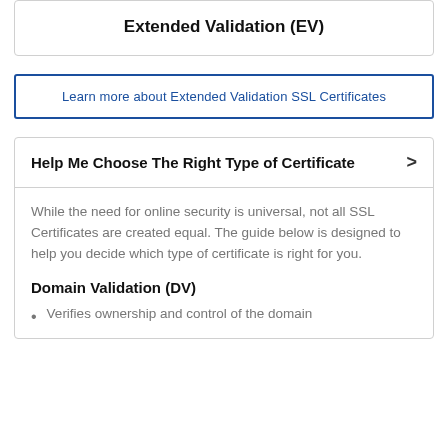Extended Validation (EV)
Learn more about Extended Validation SSL Certificates
Help Me Choose The Right Type of Certificate
While the need for online security is universal, not all SSL Certificates are created equal. The guide below is designed to help you decide which type of certificate is right for you.
Domain Validation (DV)
Verifies ownership and control of the domain